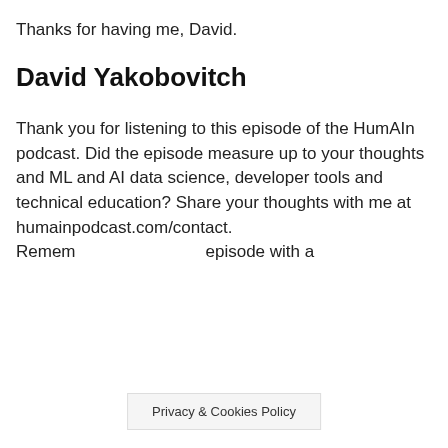Thanks for having me, David.
David Yakobovitch
Thank you for listening to this episode of the HumAIn podcast. Did the episode measure up to your thoughts and ML and AI data science, developer tools and technical education? Share your thoughts with me at humainpodcast.com/contact. Remem... ...episode with a
Privacy & Cookies Policy